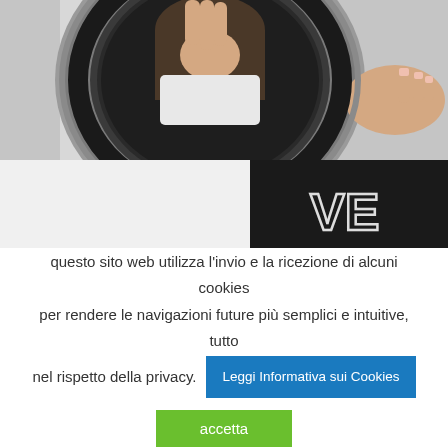[Figure (photo): A woman looking into the front-loading drum of a washing machine, close-up showing her hands on the drum door and her reflection. Below, a dark background with partial white text 'VE...' visible.]
questo sito web utilizza l'invio e la ricezione di alcuni cookies per rendere le navigazioni future più semplici e intuitive, tutto nel rispetto della privacy.
Leggi Informativa sui Cookies
accetta